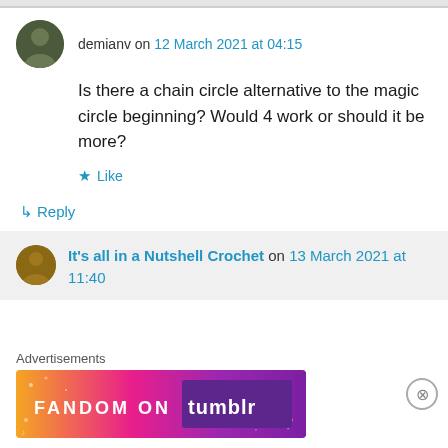demianv on 12 March 2021 at 04:15
Is there a chain circle alternative to the magic circle beginning? Would 4 work or should it be more?
★ Like
↳ Reply
It's all in a Nutshell Crochet on 13 March 2021 at 11:40
Advertisements
[Figure (illustration): Colorful advertisement banner reading FANDOM ON tumblr with orange, pink and purple gradient background with decorative stars and musical notes]